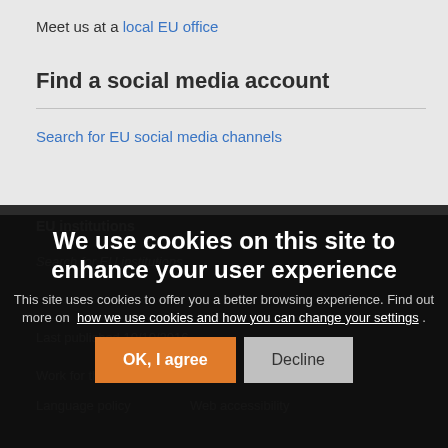Meet us at a local EU office
Find a social media account
Search for EU social media channels
EU institutions
Search for EU institutions
Last published 10/10/2016
Work for the EU
Language policy   Web accessibility
We use cookies on this site to enhance your user experience
This site uses cookies to offer you a better browsing experience. Find out more on how we use cookies and how you can change your settings .